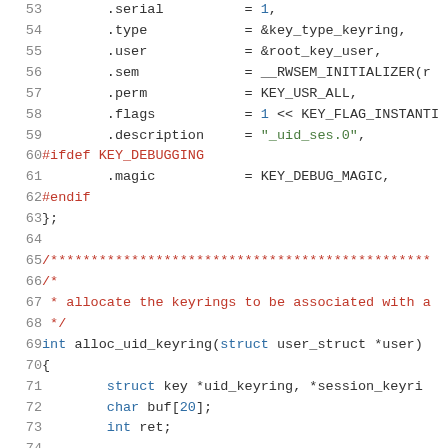Source code listing, lines 53-74, C kernel code with syntax highlighting showing struct initialization and alloc_uid_keyring function definition